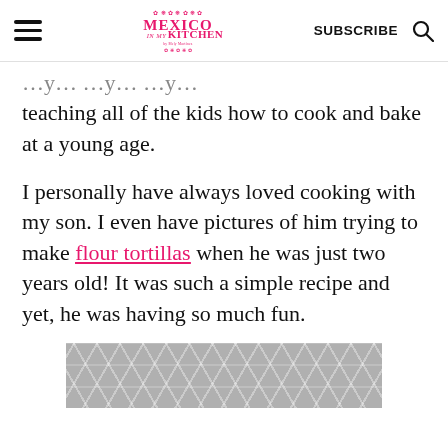Mexico in My Kitchen | SUBSCRIBE
…y… …y… …y… teaching all of the kids how to cook and bake at a young age.
I personally have always loved cooking with my son. I even have pictures of him trying to make flour tortillas when he was just two years old! It was such a simple recipe and yet, he was having so much fun.
[Figure (photo): Partially visible decorative geometric hexagon/cube pattern image in gray and white, appearing at the bottom of the page.]